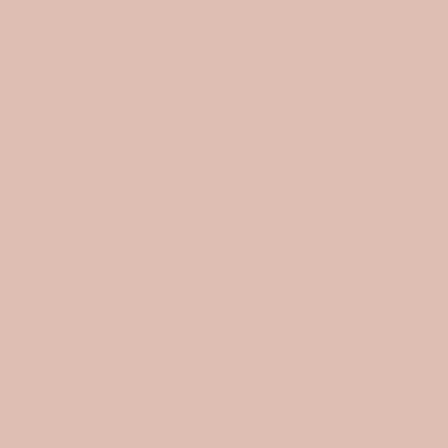sense . We can't pre... of life than oneself. Ce... sometimes a cancer g... The "equalizer" comes... heaven, NO hell. Just...
Saturday, October...
Anonymous said...
good post lord visibles... here past day or two... semi tension,non tens...
good comments and e...
Saturday, October...
Anon...
Scroll to Top
I'm watching my moth...